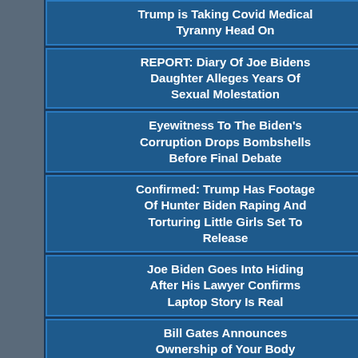Trump is Taking Covid Medical Tyranny Head On
REPORT: Diary Of Joe Bidens Daughter Alleges Years Of Sexual Molestation
Eyewitness To The Biden's Corruption Drops Bombshells Before Final Debate
Confirmed: Trump Has Footage Of Hunter Biden Raping And Torturing Little Girls Set To Release
Joe Biden Goes Into Hiding After His Lawyer Confirms Laptop Story Is Real
Bill Gates Announces Ownership of Your Body
From Cusco, B... they follow the...
To buy DVD cli...
[Figure (other): Dark blue rectangle with cyan border]
[Figure (other): Red rectangle with yellow border containing yellow underlined text starting with a character]
[Figure (other): Teal/green glowing background image with large yellow-green text 'PO...']